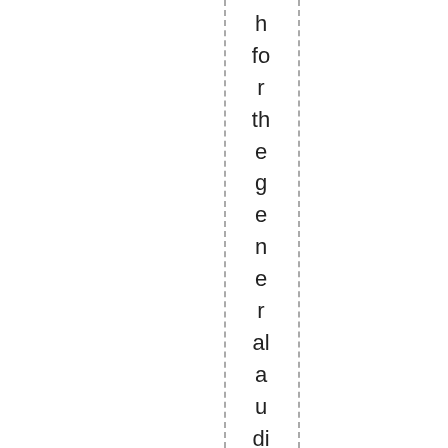h fo r th e g e n e r al a u di e n c e. S e c o n d, al